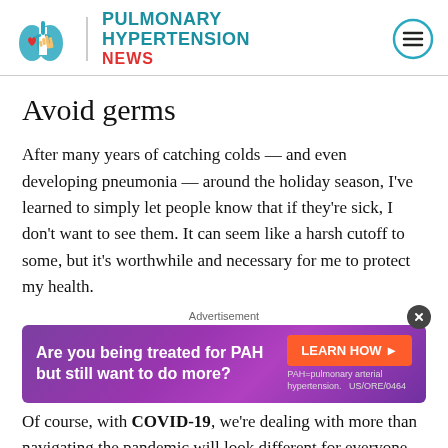PULMONARY HYPERTENSION NEWS
Avoid germs
After many years of catching colds — and even developing pneumonia — around the holiday season, I've learned to simply let people know that if they're sick, I don't want to see them. It can seem like a harsh cutoff to some, but it's worthwhile and necessary for me to protect my health.
[Figure (other): Advertisement banner: purple gradient background with text 'Are you being treated for PAH but still want to do more?' with an orange 'LEARN HOW' button and fine print 'PAH=pulmonary arterial hypertension. US/ORE/0464']
Of course, with COVID-19, we're dealing with more than... (navigating) the pandemic will look different for everyone, but this year, my family is requesting that extended